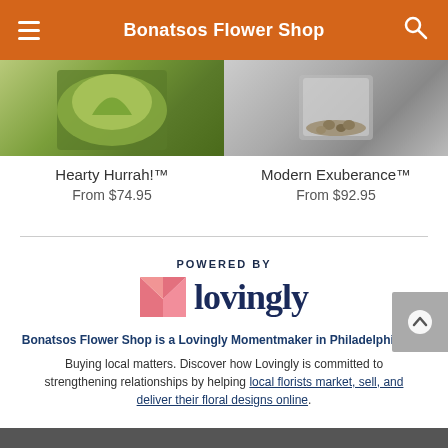Bonatsos Flower Shop
Hearty Hurrah!™
From $74.95
Modern Exuberance™
From $92.95
[Figure (logo): Powered by Lovingly logo with pink heart/envelope icon and dark blue text]
Bonatsos Flower Shop is a Lovingly Momentmaker in Philadelphia, PA.
Buying local matters. Discover how Lovingly is committed to strengthening relationships by helping local florists market, sell, and deliver their floral designs online.